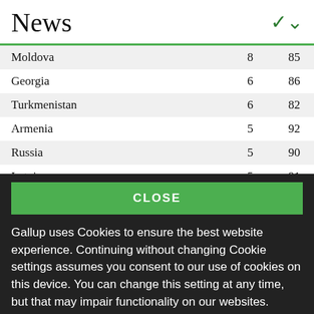News
| Moldova | 8 | 85 |
| Georgia | 6 | 86 |
| Turkmenistan | 6 | 82 |
| Armenia | 5 | 92 |
| Russia | 5 | 90 |
| Latvia | 5 | 91 |
| Belarus | 3 | 84 |
CLOSE
Gallup uses Cookies to ensure the best website experience. Continuing without changing Cookie settings assumes you consent to our use of cookies on this device. You can change this setting at any time, but that may impair functionality on our websites.
Privacy Statement   Site Terms of Use and Sale
Product Terms of Use   Adjust your cookie settings.